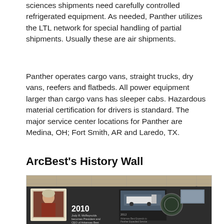sciences shipments need carefully controlled refrigerated equipment. As needed, Panther utilizes the LTL network for special handling of partial shipments. Usually these are air shipments.
Panther operates cargo vans, straight trucks, dry vans, reefers and flatbeds. All power equipment larger than cargo vans has sleeper cabs. Hazardous material certification for drivers is standard. The major service center locations for Panther are Medina, OH; Fort Smith, AR and Laredo, TX.
ArcBest's History Wall
[Figure (photo): A photograph of ArcBest's History Wall showing a timeline display. Visible is a 2010 entry with a photo of Judy R. McReynolds who becomes President and CEO of Arkansas Best, along with a 2012 entry about Arkansas Best Expands to include Panther Expedited Service, and circular logo medallions on a dark gray wall with white ceiling tiles visible above.]